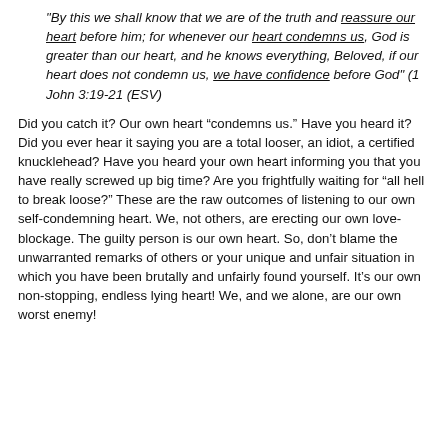"By this we shall know that we are of the truth and reassure our heart before him; for whenever our heart condemns us, God is greater than our heart, and he knows everything, Beloved, if our heart does not condemn us, we have confidence before God" (1 John 3:19-21 (ESV)
Did you catch it? Our own heart “condemns us.” Have you heard it? Did you ever hear it saying you are a total looser, an idiot, a certified knucklehead? Have you heard your own heart informing you that you have really screwed up big time? Are you frightfully waiting for “all hell to break loose?” These are the raw outcomes of listening to our own self-condemning heart. We, not others, are erecting our own love-blockage. The guilty person is our own heart. So, don’t blame the unwarranted remarks of others or your unique and unfair situation in which you have been brutally and unfairly found yourself. It’s our own non-stopping, endless lying heart! We, and we alone, are our own worst enemy!